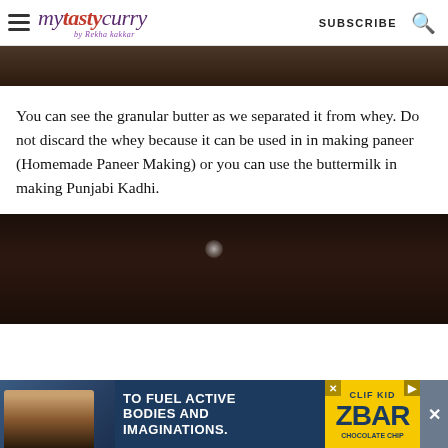mytastycurry by Rekha kakkar — SUBSCRIBE
[Figure (photo): Dark wooden surface photo strip at top]
You can see the granular butter as we separated it from whey. Do not discard the whey because it can be used in in making paneer (Homemade Paneer Making) or you can use the buttermilk in making Punjabi Kadhi.
[Figure (photo): Dark food photography image showing cooking process on dark background]
[Figure (photo): Advertisement banner: TO FUEL ACTIVE BODIES AND IMAGINATIONS. ZBAR chocolate chip energy bar ad]